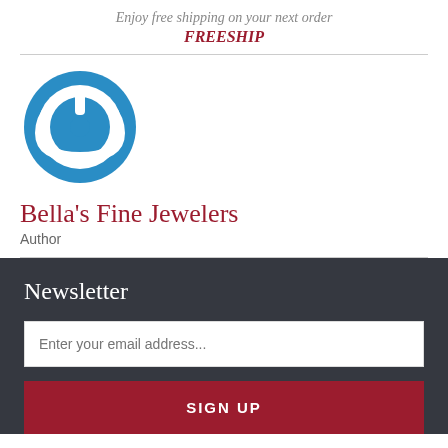Enjoy free shipping on your next order
FREESHIP
[Figure (logo): Blue circular power button icon logo for Bella's Fine Jewelers]
Bella's Fine Jewelers
Author
Newsletter
Enter your email address...
SIGN UP